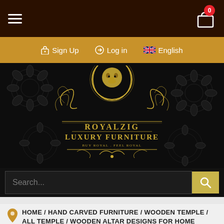[Figure (screenshot): Top navigation bar with hamburger menu on left and cart icon with badge '0' on right, on dark brown background]
[Figure (screenshot): Gold utility bar with Sign Up, Log in, and English (UK flag) links]
[Figure (logo): Royalzig Luxury Furniture gold ornate logo with lion crest on dark patterned background]
[Figure (screenshot): Search bar with placeholder text 'Search...' and gold search button]
HOME / HAND CARVED FURNITURE / WOODEN TEMPLE / ALL TEMPLE / WOODEN ALTAR DESIGNS FOR HOME